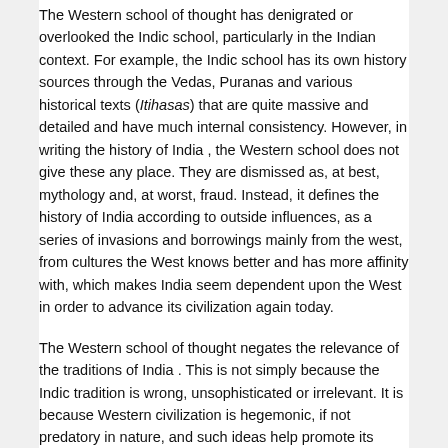The Western school of thought has denigrated or overlooked the Indic school, particularly in the Indian context. For example, the Indic school has its own history sources through the Vedas, Puranas and various historical texts (Itihasas) that are quite massive and detailed and have much internal consistency. However, in writing the history of India , the Western school does not give these any place. They are dismissed as, at best, mythology and, at worst, fraud. Instead, it defines the history of India according to outside influences, as a series of invasions and borrowings mainly from the west, from cultures the West knows better and has more affinity with, which makes India seem dependent upon the West in order to advance its civilization again today.
The Western school of thought negates the relevance of the traditions of India . This is not simply because the Indic tradition is wrong, unsophisticated or irrelevant. It is because Western civilization is hegemonic, if not predatory in nature, and such ideas help promote its spread. Its information about India contains a built-in poison. It is meant to undermine the culture of the region.